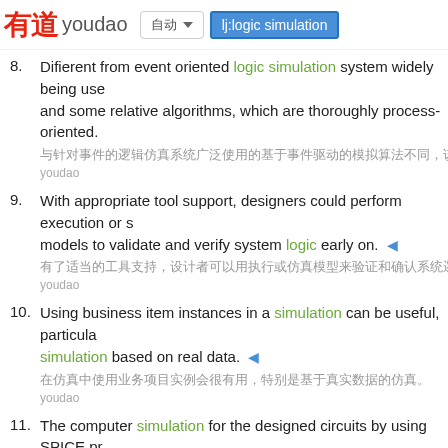有道 youdao | lj:logic simulation
8. Difierent from event oriented logic simulation system widely being use and some relative algorithms, which are thoroughly process-oriented.
[Chinese translation text]
youdao
9. With appropriate tool support, designers could perform execution or s models to validate and verify system logic early on.
[Chinese translation text]
youdao
10. Using business item instances in a simulation can be useful, particula simulation based on real data.
[Chinese translation text]
youdao
11. The computer simulation for the designed circuits by using SPICE pr functions, desired DC transfer characteristics and transient characteri